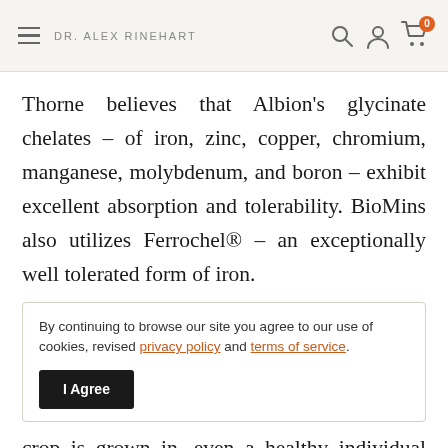DR. ALEX RINEHART
Thorne believes that Albion's glycinate chelates – of iron, zinc, copper, chromium, manganese, molybdenum, and boron – exhibit excellent absorption and tolerability. BioMins also utilizes Ferrochel® – an exceptionally well tolerated form of iron.
By continuing to browse our site you agree to our use of cookies, revised privacy policy and terms of service.
crop is grown in, even a healthy individual who